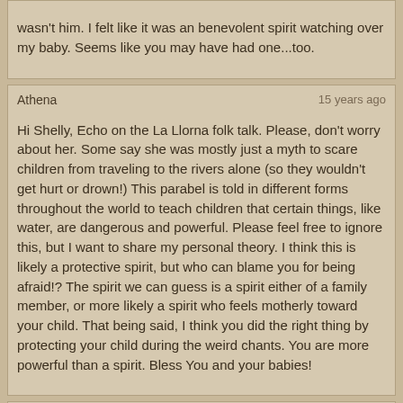wasn't him. I felt like it was an benevolent spirit watching over my baby. Seems like you may have had one...too.
Athena | 15 years ago

Hi Shelly, Echo on the La Llorna folk talk. Please, don't worry about her. Some say she was mostly just a myth to scare children from traveling to the rivers alone (so they wouldn't get hurt or drown!) This parabel is told in different forms throughout the world to teach children that certain things, like water, are dangerous and powerful. Please feel free to ignore this, but I want to share my personal theory. I think this is likely a protective spirit, but who can blame you for being afraid!? The spirit we can guess is a spirit either of a family member, or more likely a spirit who feels motherly toward your child. That being said, I think you did the right thing by protecting your child during the weird chants. You are more powerful than a spirit. Bless You and your babies!
shelly | 15 years ago

Hey,its alright no hurt feelings here. I knew there would be some criticism when I posted my story.I've seen quite a few of